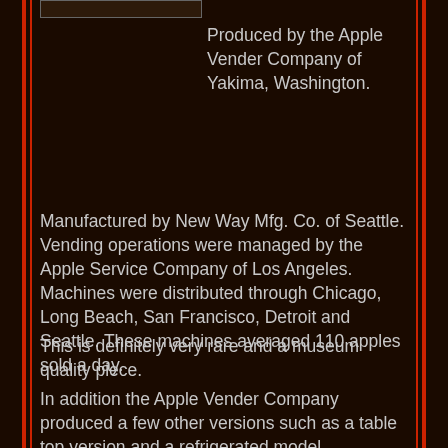[Figure (photo): Partial image at top of page, cut off]
Produced by the Apple Vender Company of Yakima, Washington.
Manufactured by New Way Mfg. Co. of Seattle. Vending operations were managed by the Apple Service Company of Los Angeles. Machines were distributed through Chicago, Long Beach, San Francisco, Detroit and Seattle. These machines averaged 110 apples sold a day.
This is definitely very rare and a museum quality piece.
In addition the Apple Vender Company produced a few other versions such as a table top version and a refrigerated model.